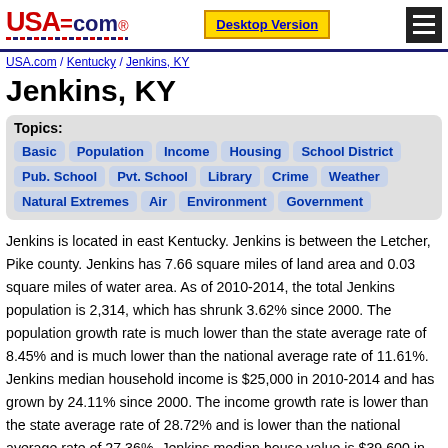USA.com — Desktop Version — Menu
USA.com / Kentucky / Jenkins, KY
Jenkins, KY
Topics: Basic Population Income Housing School District Pub. School Pvt. School Library Crime Weather Natural Extremes Air Environment Government
Jenkins is located in east Kentucky. Jenkins is between the Letcher, Pike county. Jenkins has 7.66 square miles of land area and 0.03 square miles of water area. As of 2010-2014, the total Jenkins population is 2,314, which has shrunk 3.62% since 2000. The population growth rate is much lower than the state average rate of 8.45% and is much lower than the national average rate of 11.61%. Jenkins median household income is $25,000 in 2010-2014 and has grown by 24.11% since 2000. The income growth rate is lower than the state average rate of 28.72% and is lower than the national average rate of 27.36%. Jenkins median house value is $39,600 in 2010-2014 and has grown by 8.79% since 2000. The house value growth rate is